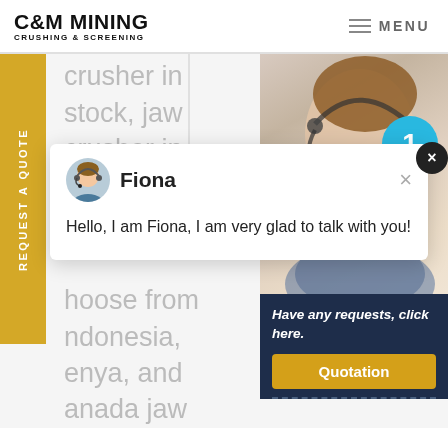C&M MINING CRUSHING & SCREENING | MENU
crusher in stock, jaw crusher in stock
[Figure (screenshot): Chat popup with avatar of Fiona showing message: Hello, I am Fiona, I am very glad to talk with you!]
choose from Indonesia, Kenya, and Canada jaw crusher in stock, as well as from
[Figure (photo): Customer service representative photo with headset, smiling. Blue circle notification badge showing number 1. Dark navy info box with italic text 'Have any requests, click here.' and orange Quotation button.]